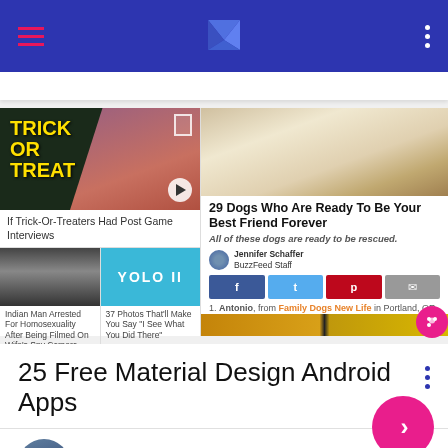[Figure (screenshot): Mobile app top navigation bar with hamburger menu, logo, and three-dot menu on blue background]
[Figure (screenshot): BuzzFeed-style news feed with article cards: Trick or Treat video, dog article, Indian man arrested story, YOLO II photo story]
25 Free Material Design Android Apps
Herkus Monte
Mar 21st in Material Design Apps, Material Design Showcases